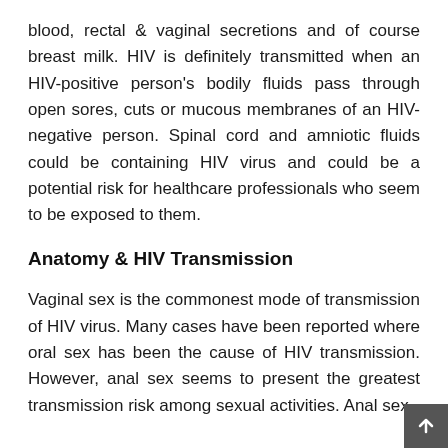blood, rectal & vaginal secretions and of course breast milk. HIV is definitely transmitted when an HIV-positive person's bodily fluids pass through open sores, cuts or mucous membranes of an HIV-negative person. Spinal cord and amniotic fluids could be containing HIV virus and could be a potential risk for healthcare professionals who seem to be exposed to them.
Anatomy & HIV Transmission
Vaginal sex is the commonest mode of transmission of HIV virus. Many cases have been reported where oral sex has been the cause of HIV transmission. However, anal sex seems to present the greatest transmission risk among sexual activities. Anal sex